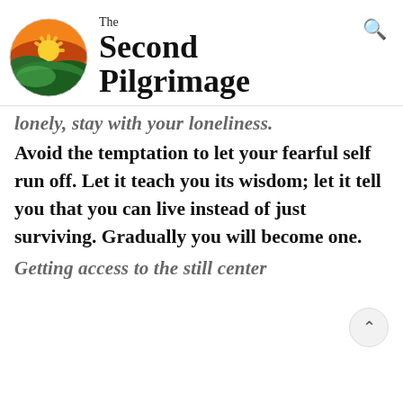[Figure (logo): The Second Pilgrimage website logo: circular icon with a sunrise over rolling green hills, orange and yellow sun, with site name 'The Second Pilgrimage' in bold serif font beside it]
lonely, stay with your loneliness.
Avoid the temptation to let your fearful self run off. Let it teach you its wisdom; let it tell you that you can live instead of just surviving. Gradually you will become one.
Getting access to the still center